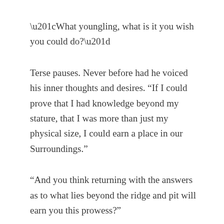“What youngling, what is it you wish you could do?”
Terse pauses. Never before had he voiced his inner thoughts and desires. “If I could prove that I had knowledge beyond my stature, that I was more than just my physical size, I could earn a place in our Surroundings.”
“And you think returning with the answers as to what lies beyond the ridge and pit will earn you this prowess?”